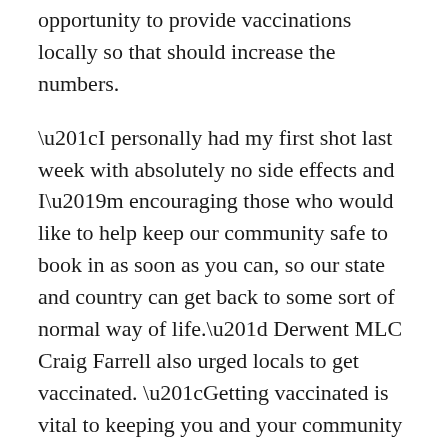opportunity to provide vaccinations locally so that should increase the numbers.
“I personally had my first shot last week with absolutely no side effects and I’m encouraging those who would like to help keep our community safe to book in as soon as you can, so our state and country can get back to some sort of normal way of life.” Derwent MLC Craig Farrell also urged locals to get vaccinated. “Getting vaccinated is vital to keeping you and your community safe,” Mr Farrell said.
“Vaccinations help stop the spread, which not only protects you, but helps protect your family and friends.